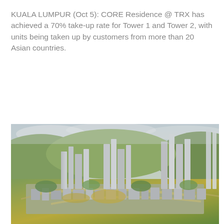KUALA LUMPUR (Oct 5): CORE Residence @ TRX has achieved a 70% take-up rate for Tower 1 and Tower 2, with units being taken up by customers from more than 20 Asian countries.
READ MORE
[Figure (photo): Aerial perspective rendering of a large mixed-use urban development with tall skyscrapers, greenery, and dense city blocks — likely the TRX (Tun Razak Exchange) development in Kuala Lumpur, Malaysia.]